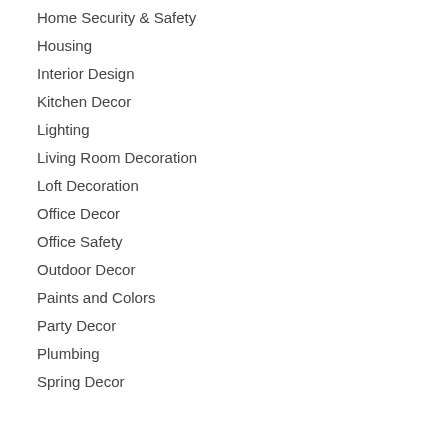Home Security & Safety
Housing
Interior Design
Kitchen Decor
Lighting
Living Room Decoration
Loft Decoration
Office Decor
Office Safety
Outdoor Decor
Paints and Colors
Party Decor
Plumbing
Spring Decor